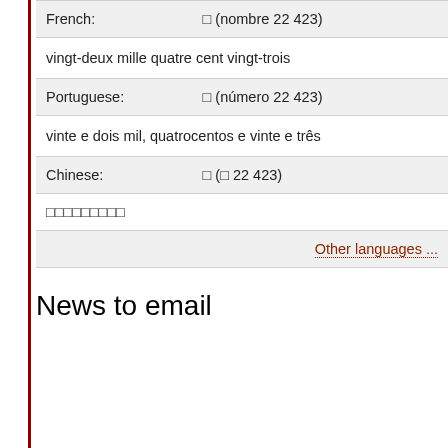| Language | Value |
| --- | --- |
| French: | □ (nombre 22 423) |
|  | vingt-deux mille quatre cent vingt-trois |
| Portuguese: | □ (número 22 423) |
|  | vinte e dois mil, quatrocentos e vinte e três |
| Chinese: | □ (□ 22 423) |
|  | □□□□□□□□□ |
|  | Other languages ... |
News to email